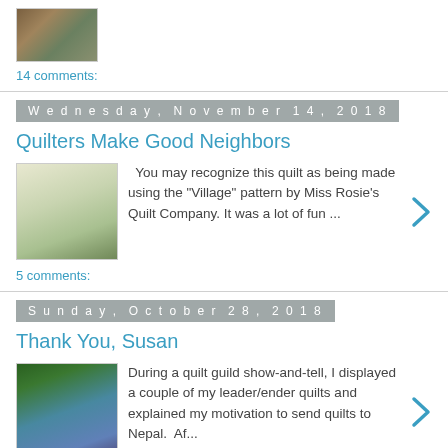[Figure (photo): Small thumbnail photo of quilts or crafts scene]
14 comments:
Wednesday, November 14, 2018
Quilters Make Good Neighbors
[Figure (photo): Photo of a quilt laid on grass/ground using Village pattern by Miss Rosie's Quilt Company]
You may recognize this quilt as being made using the "Village" pattern by Miss Rosie's Quilt Company. It was a lot of fun ...
5 comments:
Sunday, October 28, 2018
Thank You, Susan
[Figure (photo): Photo of quilts hanging on a fence or line outdoors under trees]
During a quilt guild show-and-tell, I displayed a couple of my leader/ender quilts and explained my motivation to send quilts to Nepal.  Af...
6 comments: